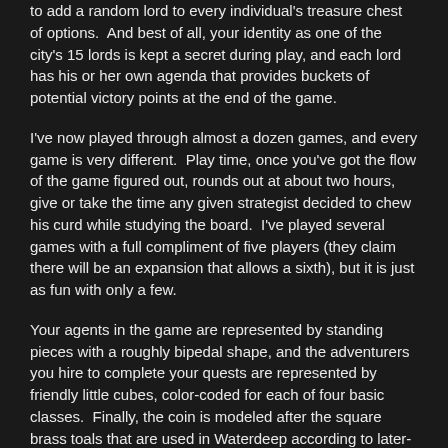to add a random lord to every individual's treasure chest of options.  And best of all, your identity as one of the city's 15 lords is kept a secret during play, and each lord has his or her own agenda that provides buckets of potential victory points at the end of the game.
I've now played through almost a dozen games, and every game is very different.  Play time, once you've got the flow of the game figured out, rounds out at about two hours, give or take the time any given strategist decided to chew his curd while studying the board.  I've played several games with a full compliment of five players (they claim there will be an expansion that allows a sixth), but it is just as fun with only a few.
Your agents in the game are represented by standing pieces with a roughly bipedal shape, and the adventurers you hire to complete your quests are represented by friendly little cubes, color-coded for each of four basic classes.  Finally, the coin is modeled after the square brass toals that are used in Waterdeep according to later-edition D&D canon, and cool little